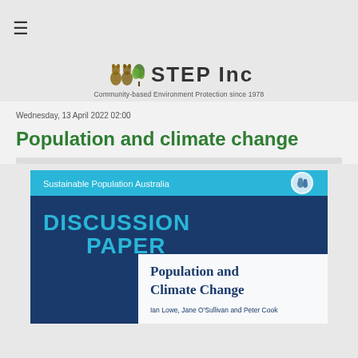[Figure (logo): STEP Inc logo with kangaroo/tree motif and text 'STEP Inc Community-based Environment Protection since 1978']
Wednesday, 13 April 2022 02:00
Population and climate change
[Figure (illustration): Cover of Sustainable Population Australia Discussion Paper titled 'Population and Climate Change' by Ian Lowe, Jane O'Sullivan and Peter Cook, with blue and white design]